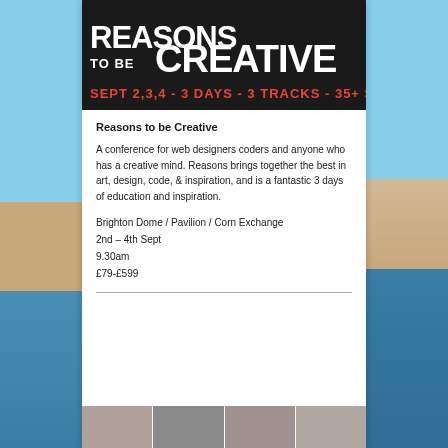[Figure (logo): Reasons to be Creative event logo banner — black background with white and orange text: REASONS TO BE CREATIVE / SEPT 2,3,4 - 3 DAYS - 3 TRACKS - 35+ SPEAKERS]
Reasons to be Creative
A conference for web designers coders and anyone who has a creative mind. Reasons brings together the best in art, design, code, & inspiration, and is a fantastic 3 days of education and inspiration.
Brighton Dome / Pavilion / Corn Exchange
2nd – 4th Sept
9.30am
£79-£599
[Figure (photo): Row of speaker portrait photos at the bottom of the card]